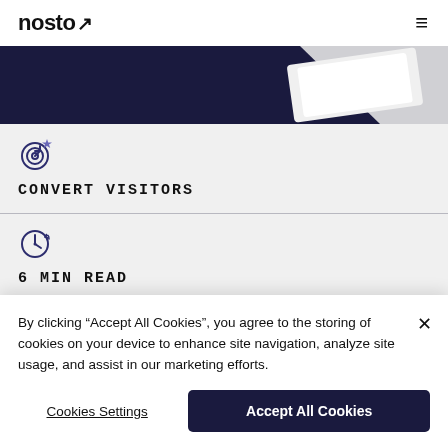nosto
[Figure (photo): Dark navy and light gray abstract hero image, partial view of a white object on dark background]
CONVERT VISITORS
6 MIN READ
By clicking “Accept All Cookies”, you agree to the storing of cookies on your device to enhance site navigation, analyze site usage, and assist in our marketing efforts.
Cookies Settings | Accept All Cookies